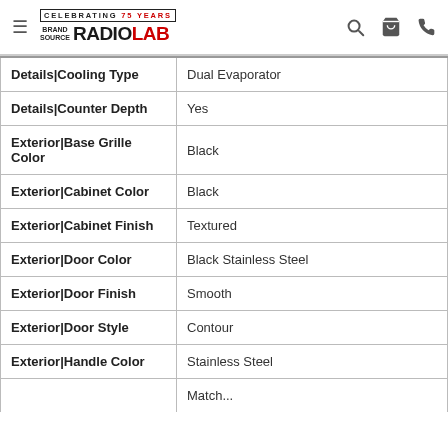Brand Source RadioLab — Celebrating 75 Years
| Attribute | Value |
| --- | --- |
| Details|Cooling Type | Dual Evaporator |
| Details|Counter Depth | Yes |
| Exterior|Base Grille Color | Black |
| Exterior|Cabinet Color | Black |
| Exterior|Cabinet Finish | Textured |
| Exterior|Door Color | Black Stainless Steel |
| Exterior|Door Finish | Smooth |
| Exterior|Door Style | Contour |
| Exterior|Handle Color | Stainless Steel |
| Exterior|Handle Finish | Match... |